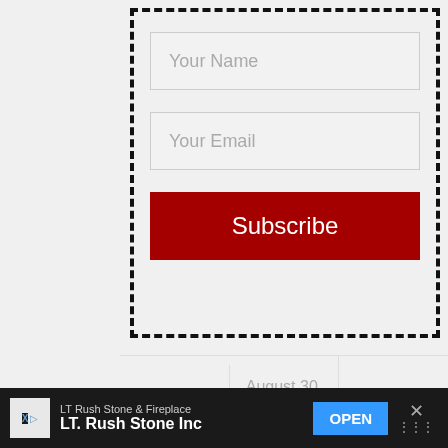[Figure (screenshot): Email subscription form with dashed border containing 'Your Name' input field, 'Your Email' input field, and a red 'Subscribe' button]
Kayak Guru | August 30, 2015 | Categories ↓
Exclusive Member of Mediavine Home
[Figure (screenshot): Ad banner at bottom: LT Rush Stone & Fireplace / LT. Rush Stone Inc with OPEN button and close X button]